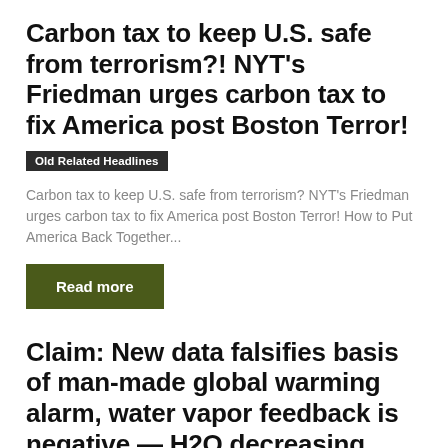Carbon tax to keep U.S. safe from terrorism?! NYT's Friedman urges carbon tax to fix America post Boston Terror!
Old Related Headlines
Carbon tax to keep U.S. safe from terrorism? NYT's Friedman urges carbon tax to fix America post Boston Terror! How to Put America Back Together...
Read more
Claim: New data falsifies basis of man-made global warming alarm, water vapor feedback is negative — H2O decreasing while CO2 rises!
Old Related Headlines